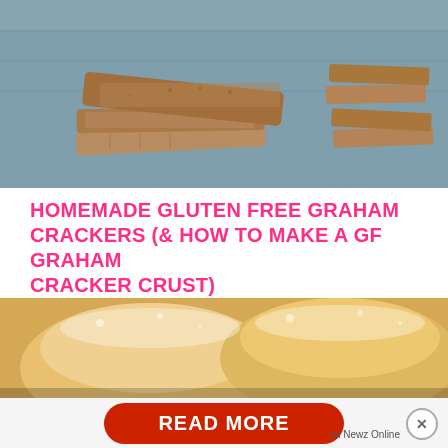[Figure (photo): Stack of homemade gluten free graham crackers on a wooden surface, warm brown tones]
HOMEMADE GLUTEN FREE GRAHAM CRACKERS (& HOW TO MAKE A GF GRAHAM CRACKER CRUST)
These homemade gluten free graham crackers are easy to make and even easier to eat! And the crumb crust is as easy as, well… pie!!
[Figure (photo): Close-up of powdered sugar dusted pastries or donuts, warm golden tones]
[Figure (other): READ MORE button overlay with red pill-shaped button and Newz Online attribution and X close button]